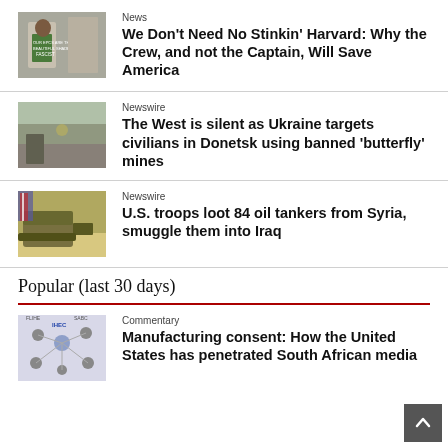News
We Don't Need No Stinkin' Harvard: Why the Crew, and not the Captain, Will Save America
Newswire
The West is silent as Ukraine targets civilians in Donetsk using banned 'butterfly' mines
Newswire
U.S. troops loot 84 oil tankers from Syria, smuggle them into Iraq
Popular (last 30 days)
Commentary
Manufacturing consent: How the United States has penetrated South African media